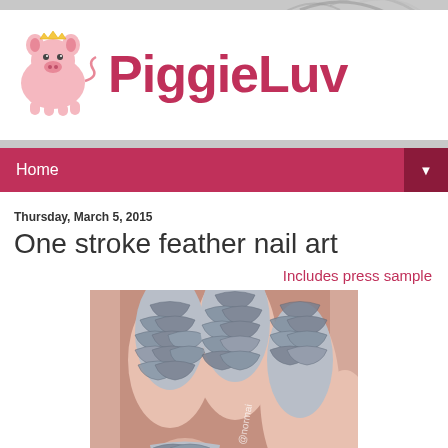PiggieLuv
Home
Thursday, March 5, 2015
One stroke feather nail art
Includes press sample
[Figure (photo): Close-up photograph of hand with feather/scale nail art in silver and dark grey tones, watermarked @normai]